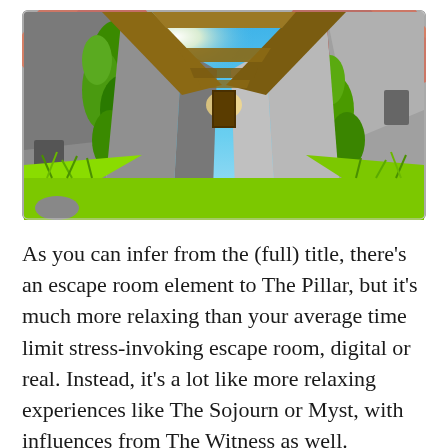[Figure (screenshot): A video game screenshot showing a first-person perspective corridor flanked by tall concrete-like walls covered with green ivy on the left and vegetation on the right, with wooden beam crossings overhead, bright blue sky with sunlight glare, and vivid red trees in the background. Lush bright green grass fills the foreground path.]
As you can infer from the (full) title, there's an escape room element to The Pillar, but it's much more relaxing than your average time limit stress-invoking escape room, digital or real. Instead, it's a lot like more relaxing experiences like The Sojourn or Myst, with influences from The Witness as well.